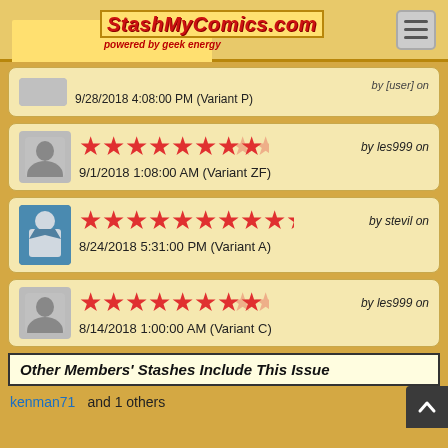StashMyComics.com powered by geek energy
9/28/2018 4:08:00 PM (Variant P)
[Figure (other): Star rating: 8 out of 10 stars (red filled), by les999 on 9/1/2018 1:08:00 AM (Variant ZF)]
[Figure (other): Star rating: 10 out of 10 stars (red filled), by stevil on 8/24/2018 5:31:00 PM (Variant A)]
[Figure (other): Star rating: 8 out of 10 stars (red filled), by les999 on 8/14/2018 1:00:00 AM (Variant C)]
Other Members' Stashes Include This Issue
kenman71   and 1 others